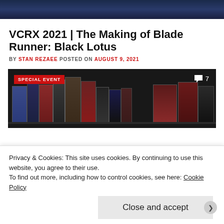[Figure (photo): Top portion of a dark blue/navy banner image, appears to be a header image cropped at top]
VCRX 2021 | The Making of Blade Runner: Black Lotus
BY STAN REZAEE POSTED ON AUGUST 9, 2021
[Figure (photo): Photo of a shelf display with various video game and movie boxes/merchandise in a dark setting, with a red 'SPECIAL EVENT' badge in the top left and a comment count of 7 in the top right]
Privacy & Cookies: This site uses cookies. By continuing to use this website, you agree to their use.
To find out more, including how to control cookies, see here: Cookie Policy
Close and accept